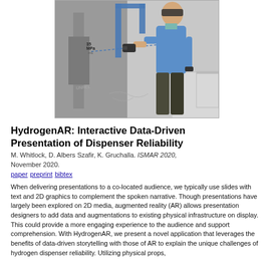[Figure (photo): A man wearing an AR headset uses a handheld device near a hydrogen dispenser station. The image is partially in color (blue shirt, teal collar) and partially grayscale. Overlaid text annotations show '35 MPa' and 'MPa' near the dispenser, and 'UNREL' is visible on the equipment.]
HydrogenAR: Interactive Data-Driven Presentation of Dispenser Reliability
M. Whitlock, D. Albers Szafir, K. Gruchalla. ISMAR 2020, November 2020.
paper preprint bibtex
When delivering presentations to a co-located audience, we typically use slides with text and 2D graphics to complement the spoken narrative. Though presentations have largely been explored on 2D media, augmented reality (AR) allows presentation designers to add data and augmentations to existing physical infrastructure on display. This could provide a more engaging experience to the audience and support comprehension. With HydrogenAR, we present a novel application that leverages the benefits of data-driven storytelling with those of AR to explain the unique challenges of hydrogen dispenser reliability. Utilizing physical props,